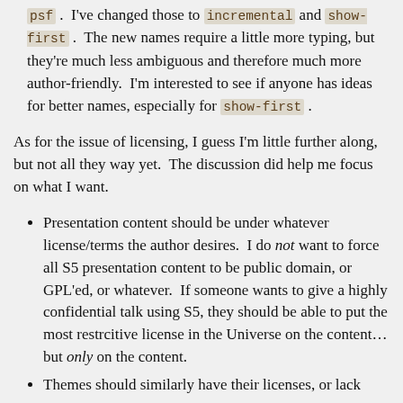psf. I've changed those to incremental and show-first. The new names require a little more typing, but they're much less ambiguous and therefore much more author-friendly. I'm interested to see if anyone has ideas for better names, especially for show-first.
As for the issue of licensing, I guess I'm little further along, but not all they way yet. The discussion did help me focus on what I want.
Presentation content should be under whatever license/terms the author desires. I do not want to force all S5 presentation content to be public domain, or GPL'ed, or whatever. If someone wants to give a highly confidential talk using S5, they should be able to put the most restrcitive license in the Universe on the content… but only on the content.
Themes should similarly have their licenses, or lack